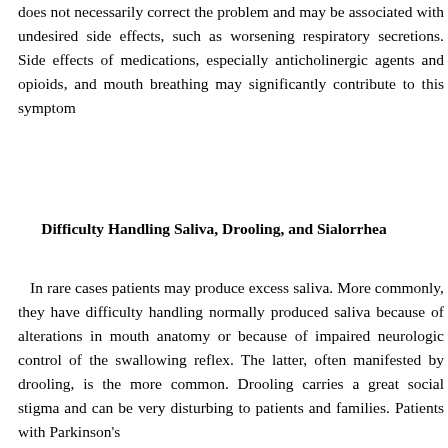does not necessarily correct the problem and may be associated with undesired side effects, such as worsening respiratory secretions. Side effects of medications, especially anticholinergic agents and opioids, and mouth breathing may significantly contribute to this symptom
Difficulty Handling Saliva, Drooling, and Sialorrhea
In rare cases patients may produce excess saliva. More commonly, they have difficulty handling normally produced saliva because of alterations in mouth anatomy or because of impaired neurologic control of the swallowing reflex. The latter, often manifested by drooling, is the more common. Drooling carries a great social stigma and can be very disturbing to patients and families. Patients with Parkinson's